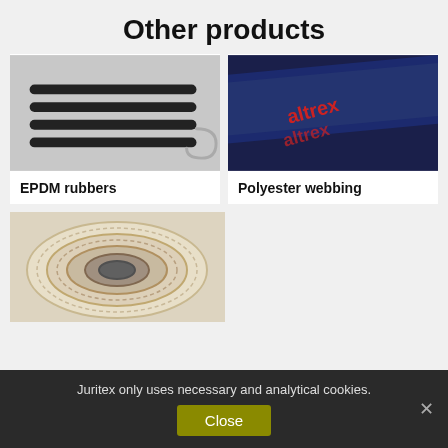Other products
[Figure (photo): EPDM rubber springs/hooks, black coated metal springs with a hook end, on a white background]
EPDM rubbers
[Figure (photo): Dark navy blue polyester webbing strap with red 'altrex' branding text woven in, shown diagonally]
Polyester webbing
[Figure (photo): A coil of natural off-white cotton/twine rope wound tightly, viewed from above showing hollow center, on white background]
Juritex only uses necessary and analytical cookies.
Close